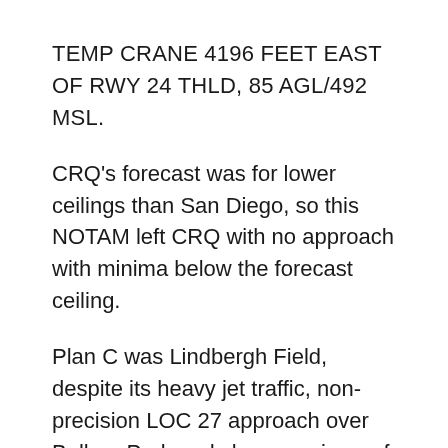TEMP CRANE 4196 FEET EAST OF RWY 24 THLD, 85 AGL/492 MSL.
CRQ's forecast was for lower ceilings than San Diego, so this NOTAM left CRQ with no approach with minima below the forecast ceiling.
Plan C was Lindbergh Field, despite its heavy jet traffic, non-precision LOC 27 approach over Balboa Park and close-up views of downtown skyscrapers. At least there I'd be assured of finding a rental car to get me to my hotel, even late in the evening.